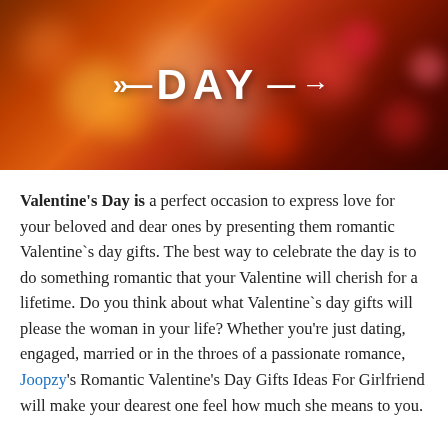[Figure (illustration): Valentine's Day banner image with bokeh hearts in red, orange, and warm tones background, with the text '>> DAY ->' in white bold letters with arrows]
Valentine's Day is a perfect occasion to express love for your beloved and dear ones by presenting them romantic Valentine`s day gifts. The best way to celebrate the day is to do something romantic that your Valentine will cherish for a lifetime. Do you think about what Valentine`s day gifts will please the woman in your life? Whether you're just dating, engaged, married or in the throes of a passionate romance, Joopzy's Romantic Valentine's Day Gifts Ideas For Girlfriend will make your dearest one feel how much she means to you.